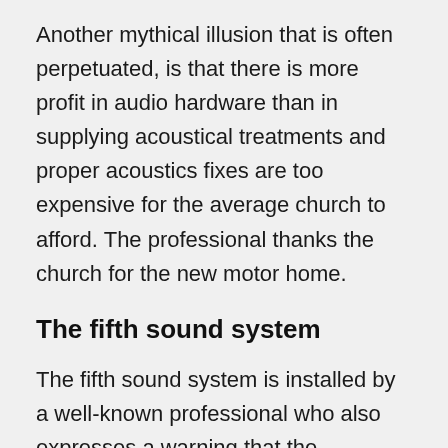Another mythical illusion that is often perpetuated, is that there is more profit in audio hardware than in supplying acoustical treatments and proper acoustics fixes are too expensive for the average church to afford. The professional thanks the church for the new motor home.
The fifth sound system
The fifth sound system is installed by a well-known professional who also expresses a warning that the acoustics must be fixed too.